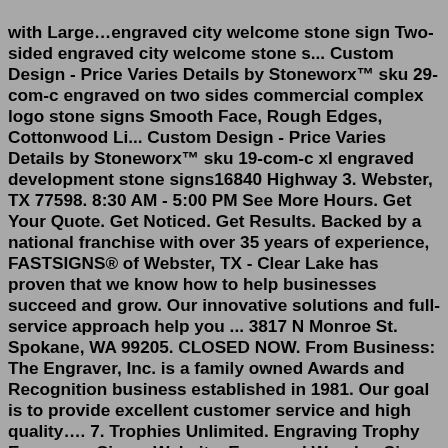with Large…engraved city welcome stone sign Two-sided engraved city welcome stone s... Custom Design - Price Varies Details by Stoneworx™ sku 29-com-c engraved on two sides commercial complex logo stone signs Smooth Face, Rough Edges, Cottonwood Li... Custom Design - Price Varies Details by Stoneworx™ sku 19-com-c xl engraved development stone signs16840 Highway 3. Webster, TX 77598. 8:30 AM - 5:00 PM See More Hours. Get Your Quote. Get Noticed. Get Results. Backed by a national franchise with over 35 years of experience, FASTSIGNS® of Webster, TX - Clear Lake has proven that we know how to help businesses succeed and grow. Our innovative solutions and full-service approach help you ... 3817 N Monroe St. Spokane, WA 99205. CLOSED NOW. From Business: The Engraver, Inc. is a family owned Awards and Recognition business established in 1981. Our goal is to provide excellent customer service and high quality…. 7. Trophies Unlimited. Engraving Trophy Engravers Signs. Website. Engraved Wooden Signs Near Me will